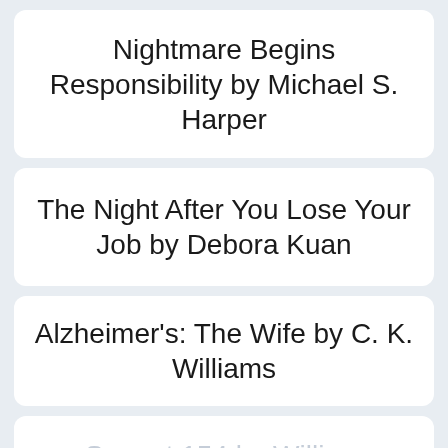Nightmare Begins Responsibility by Michael S. Harper
The Night After You Lose Your Job by Debora Kuan
Alzheimer's: The Wife by C. K. Williams
Sonnet 154 by William